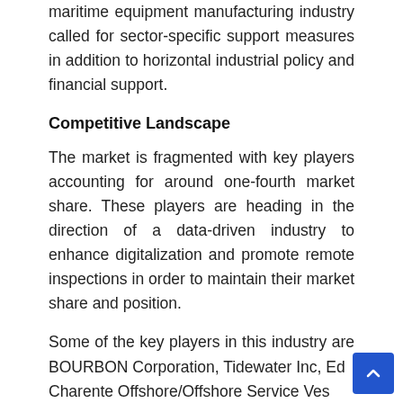maritime equipment manufacturing industry called for sector-specific support measures in addition to horizontal industrial policy and financial support.
Competitive Landscape
The market is fragmented with key players accounting for around one-fourth market share. These players are heading in the direction of a data-driven industry to enhance digitalization and promote remote inspections in order to maintain their market share and position.
Some of the key players in this industry are BOURBON Corporation, Tidewater Inc, Eds Charente Offshore/Offshore Service Vessel…